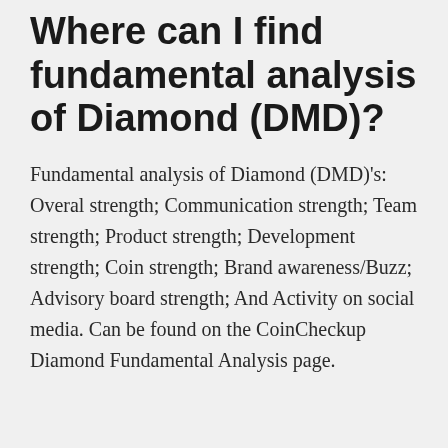Where can I find fundamental analysis of Diamond (DMD)?
Fundamental analysis of Diamond (DMD)'s: Overal strength; Communication strength; Team strength; Product strength; Development strength; Coin strength; Brand awareness/Buzz; Advisory board strength; And Activity on social media. Can be found on the CoinCheckup Diamond Fundamental Analysis page.